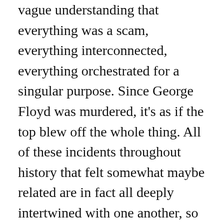vague understanding that everything was a scam, everything interconnected, everything orchestrated for a singular purpose. Since George Floyd was murdered, it's as if the top blew off the whole thing. All of these incidents throughout history that felt somewhat maybe related are in fact all deeply intertwined with one another, so tangled up in a ball that it's hard to distinguish one thread from another. And this was all intentional. I've written a lot about the American Dream being a load of horse shit. That lifting oneself up by one's bootstraps is actually not possible unless the person in question happens to be very, very strong and also a contortionist. Even then I struggle to imagine how it would look. The purpose of this false narrative, the false telling of human capability within our current system, is to leave us all feeling as though we, alone, are in control of our own fates, our own futures. That...